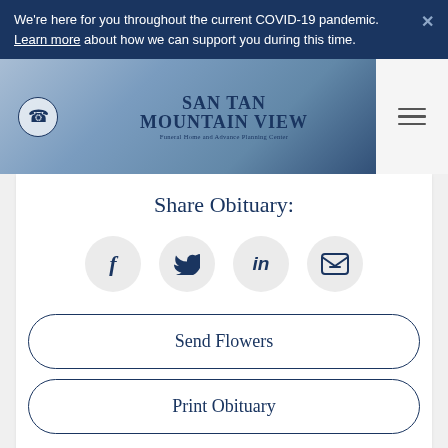We're here for you throughout the current COVID-19 pandemic. Learn more about how we can support you during this time.
[Figure (logo): San Tan Mountain View Funeral Home and Advance Planning Center logo with phone button and hamburger menu]
Share Obituary:
[Figure (infographic): Social share icons: Facebook (f), Twitter (bird), LinkedIn (in), Email (envelope)]
Send Flowers
Print Obituary